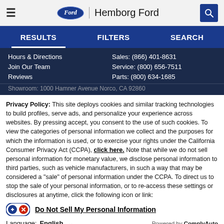Hemborg Ford
RESULTS | FILTERS | SEARCH
Hours & Directions
Join Our Team
Reviews
Sales: (866) 401-8631
Service: (800) 656-7511
Parts: (800) 634-1685
Showroom: 1000 Hamner Avenue Norco, CA 92860
Privacy Policy: This site deploys cookies and similar tracking technologies to build profiles, serve ads, and personalize your experience across websites. By pressing accept, you consent to the use of such cookies. To view the categories of personal information we collect and the purposes for which the information is used, or to exercise your rights under the California Consumer Privacy Act (CCPA), click here. Note that while we do not sell personal information for monetary value, we disclose personal information to third parties, such as vehicle manufacturers, in such a way that may be considered a "sale" of personal information under the CCPA. To direct us to stop the sale of your personal information, or to re-access these settings or disclosures at anytime, click the following icon or link:
Do Not Sell My Personal Information
Language: English
Powered by ComplyAuto
Accept and Continue → | California Privacy Disclosures